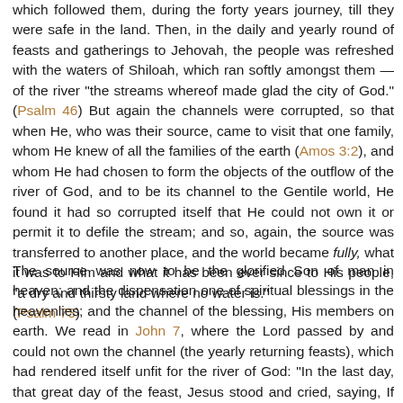which followed them, during the forty years journey, till they were safe in the land. Then, in the daily and yearly round of feasts and gatherings to Jehovah, the people was refreshed with the waters of Shiloah, which ran softly amongst them — of the river "the streams whereof made glad the city of God." (Psalm 46) But again the channels were corrupted, so that when He, who was their source, came to visit that one family, whom He knew of all the families of the earth (Amos 3:2), and whom He had chosen to form the objects of the outflow of the river of God, and to be its channel to the Gentile world, He found it had so corrupted itself that He could not own it or permit it to defile the stream; and so, again, the source was transferred to another place, and the world became fully, what it was to Him and what it has been ever since to His people, "a dry and thirsty land where no water is." (Psalm 73)
The source was now to be the glorified Son of man in heaven; and the dispensation one of spiritual blessings in the heavenlies; and the channel of the blessing, His members on earth. We read in John 7, where the Lord passed by and could not own the channel (the yearly returning feasts), which had rendered itself unfit for the river of God: "In the last day, that great day of the feast, Jesus stood and cried, saying, If any man thirst, let him come unto me and drink. He that believes on me, as the scripture has